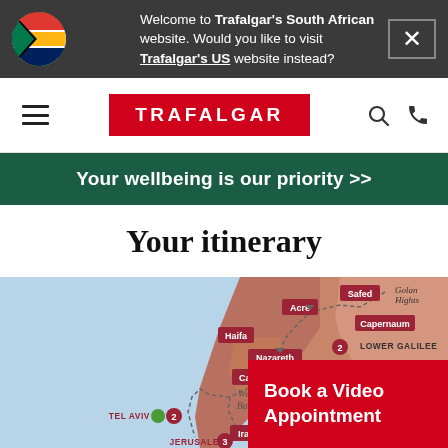Welcome to Trafalgar's South African website. Would you like to visit Trafalgar's US website instead?
[Figure (logo): Trafalgar navigation bar with hamburger menu, Trafalgar red logo, search icon, and phone icon]
Your wellbeing is our priority >>
Your itinerary
[Figure (map): Map of Israel/Palestine region showing itinerary route with locations: Acre, Safed, Golan Hights, Capernaum, Haifa, Lower Galilee, Nazareth, Caesarea, River Jordan, Jerash, West Bank, Tel Aviv, Iraq (partial), Jerusalem. Route markers numbered 2, 3 visible. Green dot marker at Tel Aviv.]
Book a Video Appointment